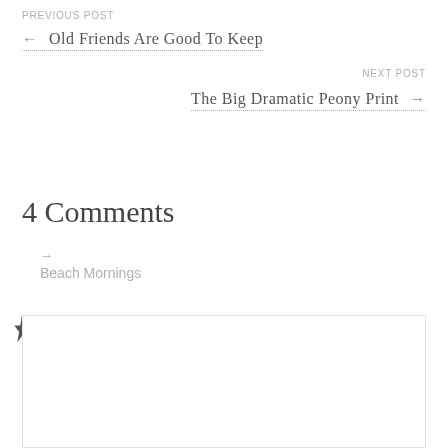PREVIOUS POST
← Old Friends Are Good To Keep
NEXT POST
The Big Dramatic Peony Print →
4 Comments
→
Beach Mornings
SARAH
June 30, 2018 at 3:22 pm